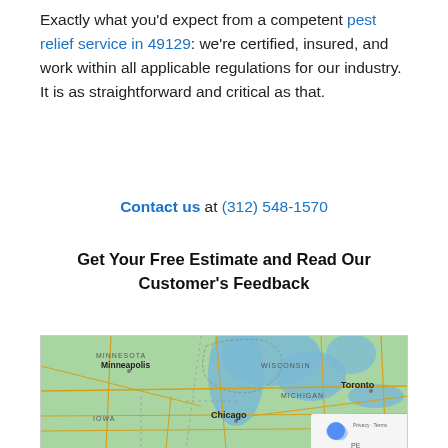Exactly what you'd expect from a competent pest relief service in 49129: we're certified, insured, and work within all applicable regulations for our industry. It is as straightforward and critical as that.
Contact us at (312) 548-1570
Get Your Free Estimate and Read Our Customer's Feedback
[Figure (map): Google Maps view showing the Midwest United States and part of Canada, including Minnesota, Wisconsin, Michigan, Iowa, Illinois (Chicago), and Toronto. Shows the Great Lakes region with Lake Michigan prominently visible. Roads shown in yellow on teal/green background.]